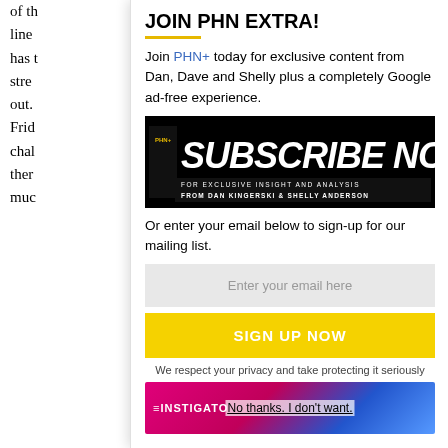of th line has t stre out. Frid chal ther muc
JOIN PHN EXTRA!
Join PHN+ today for exclusive content from Dan, Dave and Shelly plus a completely Google ad-free experience.
[Figure (infographic): PHN+ Subscribe Now banner — black background with large bold white text 'SUBSCRIBE NOW' and smaller text 'FOR EXCLUSIVE INSIGHT AND ANALYSIS FROM DAN KINGERSKI & SHELLY ANDERSON']
Or enter your email below to sign-up for our mailing list.
Enter your email here
SIGN UP NOW
We respect your privacy and take protecting it seriously
[Figure (infographic): Instigator banner with pink/blue gradient and text 'No thanks. I don't want.']